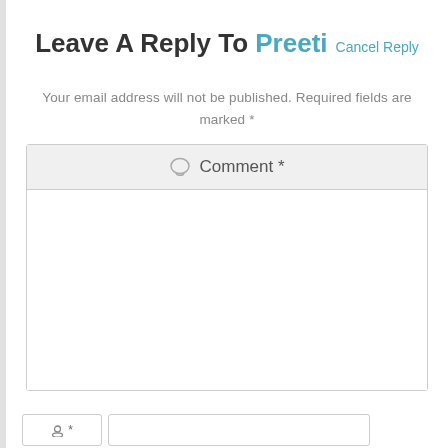Leave A Reply To Preeti Cancel Reply
Your email address will not be published. Required fields are marked *
[Figure (screenshot): Comment form with a comment text area input box and a name field below. The comment box has a speech bubble icon and reads 'Comment *' in the header. Below is an empty white textarea. A name field row appears at the bottom.]